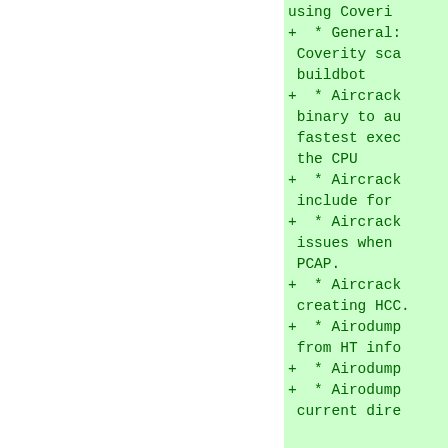using Coveri
+  * General: Coverity sca buildbot
+  * Aircrack binary to au fastest exec the CPU
+  * Aircrack include for
+  * Aircrack issues when PCAP.
+  * Aircrack creating HCC.
+  * Airodump from HT info
+  * Airodump
+  * Airodump current dire